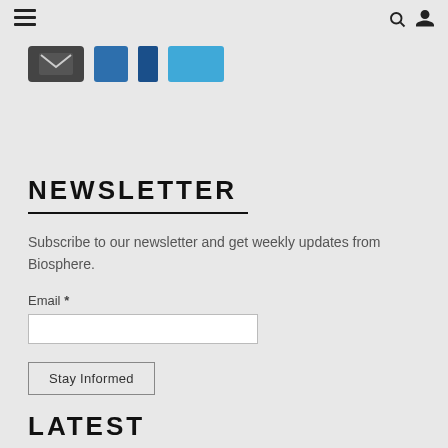☰  🔍  👤
[Figure (other): Social media icon buttons: email icon (dark grey), Facebook icons (blue), Twitter icon (light blue)]
NEWSLETTER
Subscribe to our newsletter and get weekly updates from Biosphere.
Email *
Stay Informed
LATEST